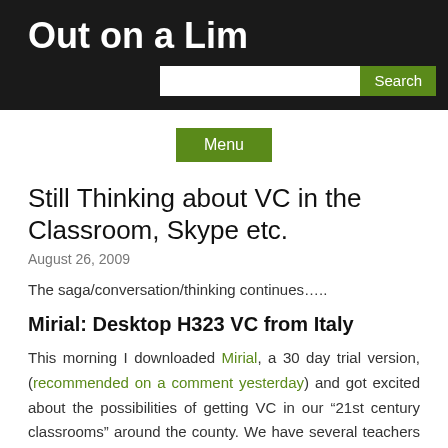Out on a Lim
Still Thinking about VC in the Classroom, Skype etc.
August 26, 2009
The saga/conversation/thinking continues…..
Mirial: Desktop H323 VC from Italy
This morning I downloaded Mirial, a 30 day trial version, (recommended on a comment yesterday) and got excited about the possibilities of getting VC in our “21st century classrooms” around the county. We have several teachers with “tricked out classrooms” who also love VC but want it in their classroom. I haven’t tested too much yet, but so far: